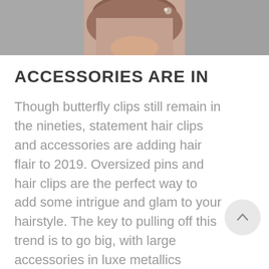[Figure (photo): Cropped photo of a person's head/hair with a hair accessory, shown from behind/side, gray background]
ACCESSORIES ARE IN
Though butterfly clips still remain in the nineties, statement hair clips and accessories are adding hair flair to 2019. Oversized pins and hair clips are the perfect way to add some intrigue and glam to your hairstyle. The key to pulling off this trend is to go big, with large accessories in luxe metallics